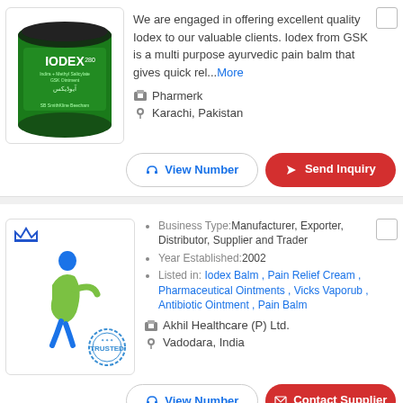[Figure (photo): Green Iodex 280 ointment jar/bottle with SmithKline Beecham label]
We are engaged in offering excellent quality Iodex to our valuable clients. Iodex from GSK is a multi purpose ayurvedic pain balm that gives quick rel...More
Pharmerk
Karachi, Pakistan
View Number
Send Inquiry
[Figure (logo): Akhil Healthcare logo with crown icon and figure illustration, Trusted stamp]
Business Type: Manufacturer, Exporter, Distributor, Supplier and Trader
Year Established: 2002
Listed in: Iodex Balm , Pain Relief Cream , Pharmaceutical Ointments , Vicks Vaporub , Antibiotic Ointment , Pain Balm
Akhil Healthcare (P) Ltd.
Vadodara, India
View Number
Contact Supplier
[Figure (logo): Third supplier logo with crown icon, partially visible]
Business Type: Manufacturer, Exporter, Distributor, Supplier and Trader